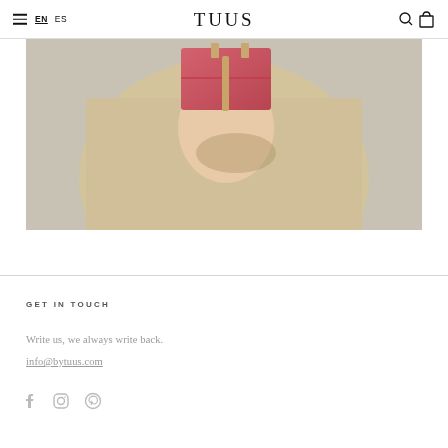EN ES TUUS
[Figure (photo): A person holding a red/rose-colored rectangular clutch bag, wearing a beige/khaki colored outfit, photographed against a light grey background.]
GET IN TOUCH
Write us, we always write back.
info@bytuus.com